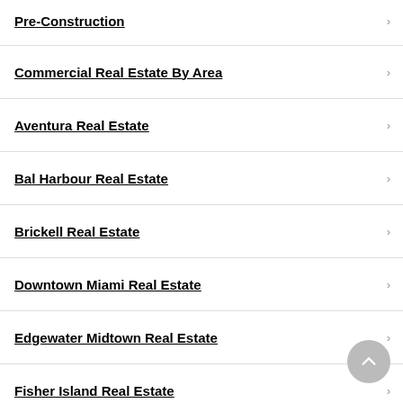Pre-Construction
Commercial Real Estate By Area
Aventura Real Estate
Bal Harbour Real Estate
Brickell Real Estate
Downtown Miami Real Estate
Edgewater Midtown Real Estate
Fisher Island Real Estate
Golden Beach Real Estate
Key Biscayne Real Estate
Miami Shores Real Estate
North Bay Village Real Estate